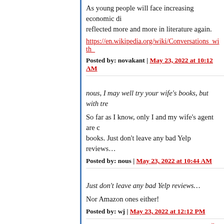As young people will face increasing economic di... reflected more and more in literature again.
https://en.wikipedia.org/wiki/Conversations_with_
Posted by: novakant | May 23, 2022 at 10:12 AM
nous, I may well try your wife's books, but with tre...
So far as I know, only I and my wife's agent are c... books. Just don't leave any bad Yelp reviews…
Posted by: nous | May 23, 2022 at 10:44 AM
Just don't leave any bad Yelp reviews…
Nor Amazon ones either!
Posted by: wj | May 23, 2022 at 12:12 PM
»
The comments to this entry are closed.